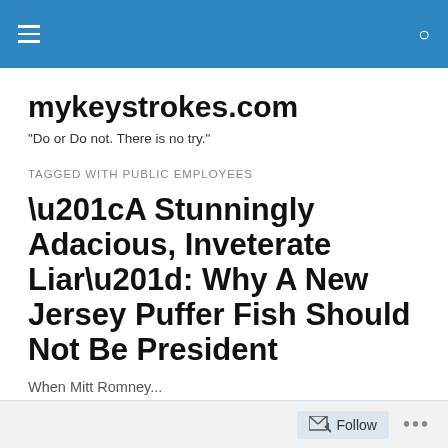mykeystrokes.com navigation bar
mykeystrokes.com
"Do or Do not. There is no try."
TAGGED WITH PUBLIC EMPLOYEES
“A Stunningly Adacious, Inveterate Liar”: Why A New Jersey Puffer Fish Should Not Be President
When Mitt Romney...